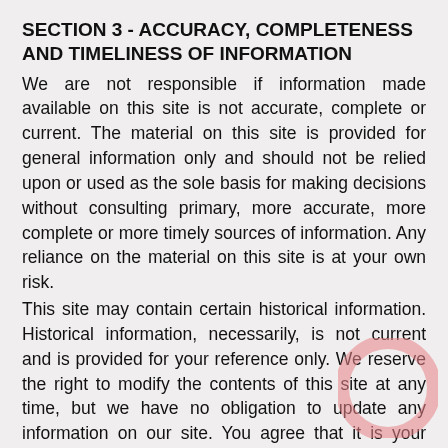SECTION 3 - ACCURACY, COMPLETENESS AND TIMELINESS OF INFORMATION
We are not responsible if information made available on this site is not accurate, complete or current. The material on this site is provided for general information only and should not be relied upon or used as the sole basis for making decisions without consulting primary, more accurate, more complete or more timely sources of information. Any reliance on the material on this site is at your own risk.
This site may contain certain historical information. Historical information, necessarily, is not current and is provided for your reference only. We reserve the right to modify the contents of this site at any time, but we have no obligation to update any information on our site. You agree that it is your responsibility to monitor changes to our site.